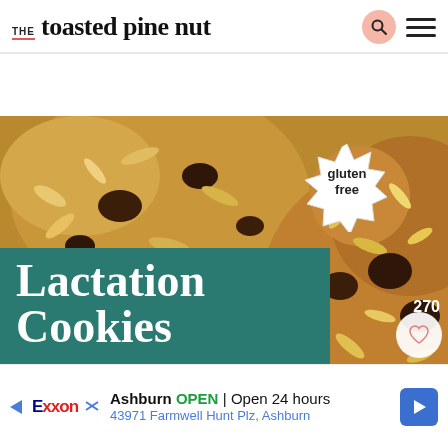THE toasted pine nut
[Figure (photo): Close-up photo of oat and chocolate chip lactation cookies with seeds, with a teal banner overlay reading 'Lactation Cookies', a white starburst badge reading 'gluten free', a save count of 270, and a heart/save button.]
Lactation Cookies
[Figure (infographic): Advertisement bar: Exxon logo, Ashburn OPEN | Open 24 hours, 43971 Farmwell Hunt Plz, Ashburn, with a blue navigation arrow icon.]